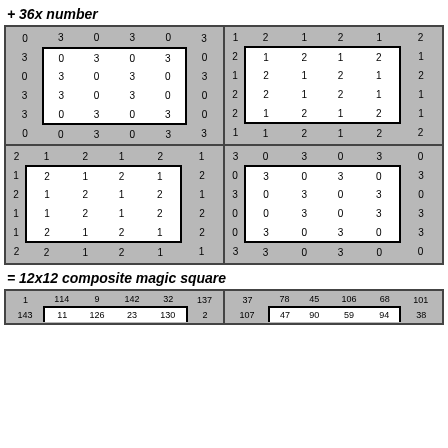+ 36x number
[Figure (other): Four 6x6 grids arranged in a 2x2 pattern showing number patterns with 0,1,2,3 values. Each quadrant has a white inner 4x4 box and gray border cells.]
= 12x12 composite magic square
[Figure (other): Partial view of a 12x12 composite magic square showing two quadrants with larger numbers.]